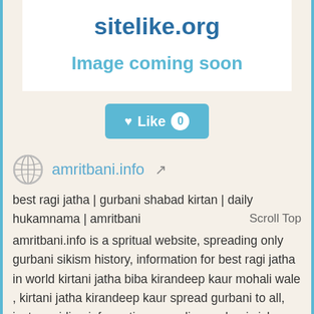[Figure (screenshot): White box with site name 'sitelike.org' in blue bold text and 'Image coming soon' placeholder text in teal]
[Figure (other): Like button in teal/blue with heart icon, text 'Like' and count '0' in white circle]
amritbani.info
best ragi jatha | gurbani shabad kirtan | daily hukamnama | amritbani
Scroll Top
amritbani.info is a spritual website, spreading only gurbani sikism history, information for best ragi jatha in world kirtani jatha biba kirandeep kaur mohali wale , kirtani jatha kirandeep kaur spread gurbani to all, just providing information regarding gurbani vichar, gurbani prachar, shabad guru,bani guru, guru nanak dev ji,